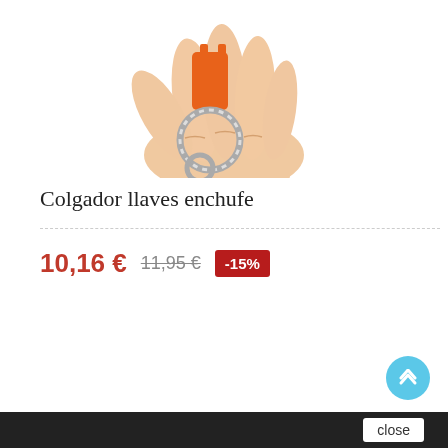[Figure (photo): A hand holding a keychain with metal key rings and an orange keychain holder against a white background.]
Colgador llaves enchufe
10,16 €  11,95 €  -15%